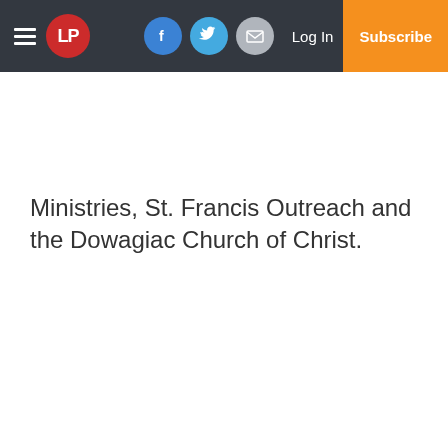LP [logo] | Facebook | Twitter | Email | Log In | Subscribe
Ministries, St. Francis Outreach and the Dowagiac Church of Christ.